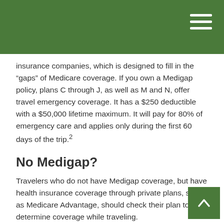insurance companies, which is designed to fill in the “gaps” of Medicare coverage. If you own a Medigap policy, plans C through J, as well as M and N, offer travel emergency coverage. It has a $250 deductible with a $50,000 lifetime maximum. It will pay for 80% of emergency care and applies only during the first 60 days of the trip.²
No Medigap?
Travelers who do not have Medigap coverage, but have health insurance coverage through private plans, such as Medicare Advantage, should check their plan to determine coverage while traveling.
If you do not have coverage when traveling overseas, policies may be purchased that will cover medical expenses incurred outside the U.S., including evacuations